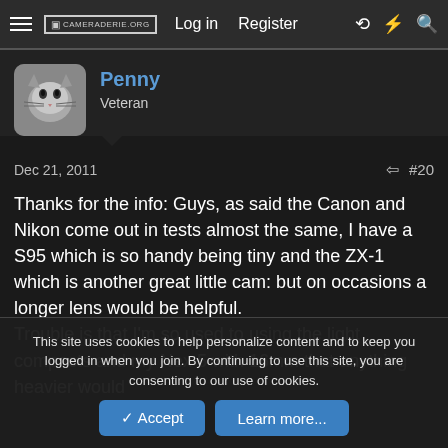CAMERADERIE.ORG  Log in  Register
[Figure (photo): Avatar photo of a cat named Penny]
Penny
Veteran
Dec 21, 2011  #20
Thanks for the info: Guys, as said the Canon and Nikon come out in tests almost the same, I have a S95 which is so handy being tiny and the ZX-1 which is another great little cam: but on occasions a longer lens would be helpful.
Trouble is that I'm so used to using the light compacts and my Nex 5 with 16mm that anything heavier would
This site uses cookies to help personalize content and to keep you logged in when you join. By continuing to use this site, you are consenting to our use of cookies.
Accept  Learn more...